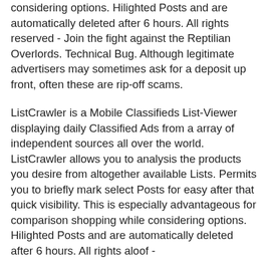considering options. Hilighted Posts and are automatically deleted after 6 hours. All rights reserved - Join the fight against the Reptilian Overlords. Technical Bug. Although legitimate advertisers may sometimes ask for a deposit up front, often these are rip-off scams.
ListCrawler is a Mobile Classifieds List-Viewer displaying daily Classified Ads from a array of independent sources all over the world. ListCrawler allows you to analysis the products you desire from altogether available Lists. Permits you to briefly mark select Posts for easy after that quick visibility. This is especially advantageous for comparison shopping while considering options. Hilighted Posts and are automatically deleted after 6 hours. All rights aloof -
You have free video passes available! Abuse them before they expire. All shows use credits which you can acquire in various quantities. When you come in a show your credits will activate to deduct one credit at a time; you can leave the act at any time and use your remaining credits in